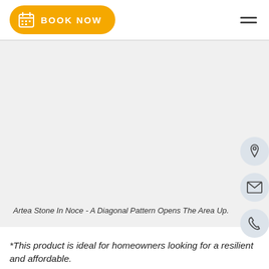[Figure (screenshot): Yellow 'BOOK NOW' button with calendar icon on the left side of the header]
[Figure (screenshot): Hamburger menu icon (three horizontal lines) on the right side of the header]
[Figure (illustration): Light gray content area representing a floor tile image placeholder]
[Figure (illustration): Three circular icon buttons on the right side: location pin, envelope/email, and telephone/phone icons]
Artea Stone In Noce - A Diagonal Pattern Opens The Area Up.
*This product is ideal for homeowners looking for a resilient and affordable.